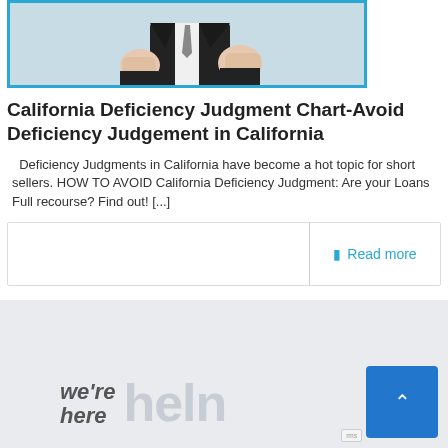[Figure (photo): Partial view of a person in a suit, showing hands/torso area, framed with a blue border]
California Deficiency Judgment Chart-Avoid Deficiency Judgement in California
Deficiency Judgments in California have become a hot topic for short sellers. HOW TO AVOID California Deficiency Judgment: Are your Loans Full recourse? Find out! [...]
Read more
[Figure (logo): Footer area with 'we're here' text and partial 'help' text logo in grey tones on a light grey background]